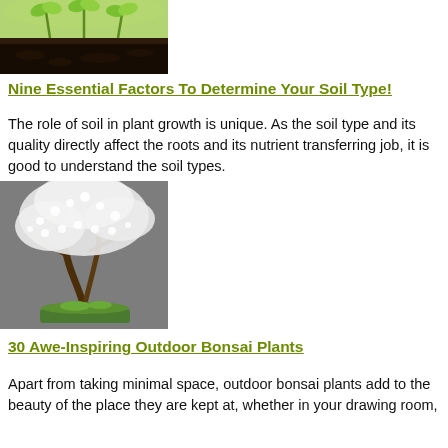[Figure (photo): Photo of seedlings sprouting from dark soil, green leaves visible at top]
Nine Essential Factors To Determine Your Soil Type!
The role of soil in plant growth is unique. As the soil type and its quality directly affect the roots and its nutrient transferring job, it is good to understand the soil types.
[Figure (photo): Photo of a bonsai tree with white flowers in a tray]
30 Awe-Inspiring Outdoor Bonsai Plants
Apart from taking minimal space, outdoor bonsai plants add to the beauty of the place they are kept at, whether in your drawing room,